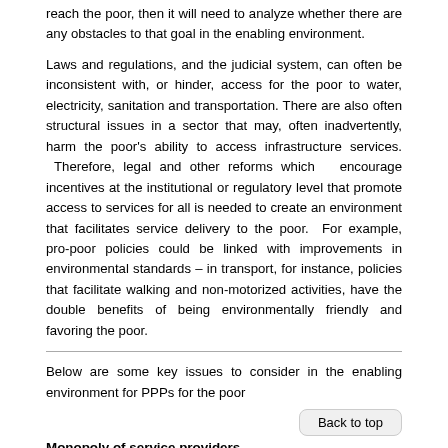reach the poor, then it will need to analyze whether there are any obstacles to that goal in the enabling environment.
Laws and regulations, and the judicial system, can often be inconsistent with, or hinder, access for the poor to water, electricity, sanitation and transportation. There are also often structural issues in a sector that may, often inadvertently, harm the poor's ability to access infrastructure services. Therefore, legal and other reforms which encourage incentives at the institutional or regulatory level that promote access to services for all is needed to create an environment that facilitates service delivery to the poor. For example, pro-poor policies could be linked with improvements in environmental standards – in transport, for instance, policies that facilitate walking and non-motorized activities, have the double benefits of being environmentally friendly and favoring the poor.
Below are some key issues to consider in the enabling environment for PPPs for the poor
Monopoly of service providers